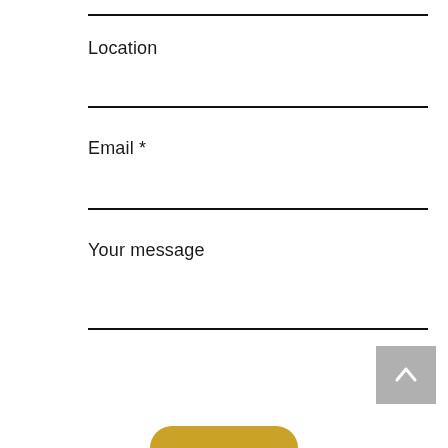Location
Email *
Your message
[Figure (other): Scroll-to-top button: grey square with white upward chevron arrow]
[Figure (other): Submit/send button: gold/yellow rounded pill button partially visible at bottom]